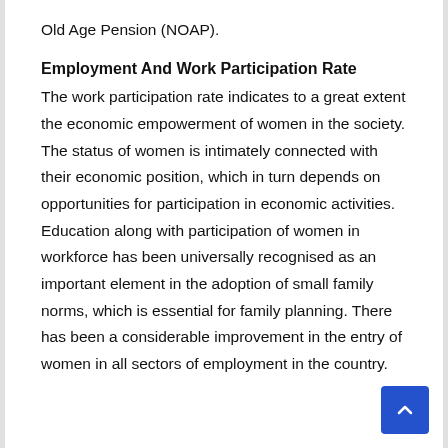Old Age Pension (NOAP).
Employment And Work Participation Rate
The work participation rate indicates to a great extent the economic empowerment of women in the society. The status of women is intimately connected with their economic position, which in turn depends on opportunities for participation in economic activities. Education along with participation of women in workforce has been universally recognised as an important element in the adoption of small family norms, which is essential for family planning. There has been a considerable improvement in the entry of women in all sectors of employment in the country.